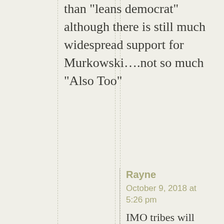than "leans democrat" although there is still much widespread support for Murkowski....not so much "Also Too"
Rayne
October 9, 2018 at 5:26 pm
IMO tribes will have to